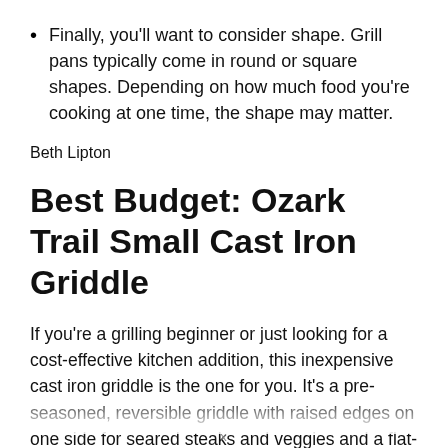Finally, you'll want to consider shape. Grill pans typically come in round or square shapes. Depending on how much food you're cooking at one time, the shape may matter.
Beth Lipton
Best Budget: Ozark Trail Small Cast Iron Griddle
If you're a grilling beginner or just looking for a cost-effective kitchen addition, this inexpensive cast iron griddle is the one for you. It's a pre-seasoned, reversible griddle with raised edges on one side for seared steaks and veggies and a flat-
x